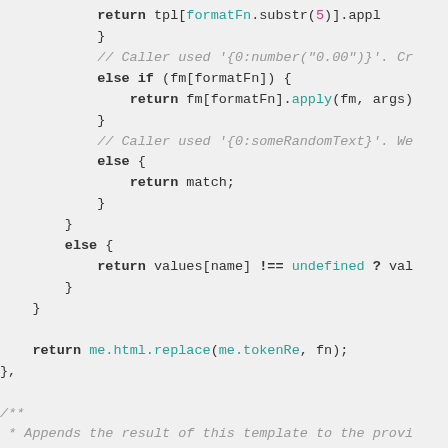[Figure (screenshot): Source code snippet showing JavaScript template formatting logic with keyword highlighting. Contains return statements, else if blocks, and a JSDoc comment block.]